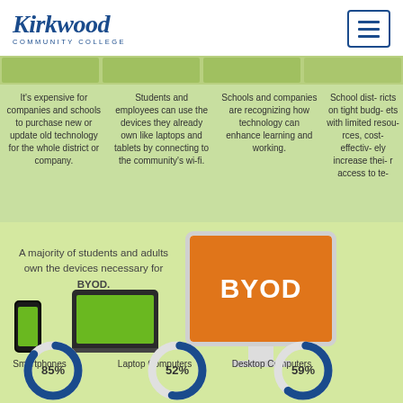Kirkwood Community College
It's expensive for companies and schools to purchase new or update old technology for the whole district or company.
Students and employees can use the devices they already own like laptops and tablets by connecting to the community's wi-fi.
Schools and companies are recognizing how technology can enhance learning and working.
School districts on tight budgets with limited resources, cost-effectively increase their access to te…
A majority of students and adults own the devices necessary for BYOD.
[Figure (infographic): BYOD infographic showing a desktop monitor with orange screen displaying 'BYOD', a smartphone, and a laptop computer on a green background]
Smartphones
Laptop Computers
Desktop Computers
[Figure (donut-chart): Smartphones]
[Figure (donut-chart): Laptop Computers]
[Figure (donut-chart): Desktop Computers]